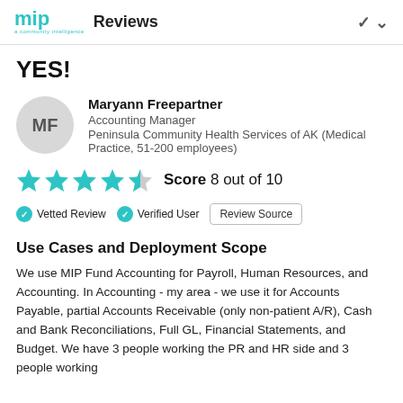mip Reviews
YES!
Maryann Freepartner
Accounting Manager
Peninsula Community Health Services of AK (Medical Practice, 51-200 employees)
[Figure (other): 4.5 out of 5 stars rating display in teal]
Score 8 out of 10
Vetted Review   Verified User   Review Source
Use Cases and Deployment Scope
We use MIP Fund Accounting for Payroll, Human Resources, and Accounting. In Accounting - my area - we use it for Accounts Payable, partial Accounts Receivable (only non-patient A/R), Cash and Bank Reconciliations, Full GL, Financial Statements, and Budget. We have 3 people working the PR and HR side and 3 people working